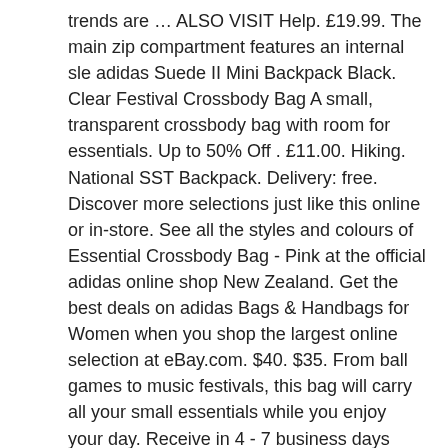trends are … ALSO VISIT Help. £19.99. The main zip compartment features an internal sle adidas Suede II Mini Backpack Black. Clear Festival Crossbody Bag A small, transparent crossbody bag with room for essentials. Up to 50% Off . £11.00. Hiking. National SST Backpack. Delivery: free. Discover more selections just like this online or in-store. See all the styles and colours of Essential Crossbody Bag - Pink at the official adidas online shop New Zealand. Get the best deals on adidas Bags & Handbags for Women when you shop the largest online selection at eBay.com. $40. $35. From ball games to music festivals, this bag will carry all your small essentials while you enjoy your day. Receive in 4 - 7 business days with standard shipping. The Clear Festival Crossbody Bag has a front zip pocket, a main compartment with a zipper closure, and an adjustable crossbody strap with adidas branding throughout. Made of premium clear material, and features extra zippered